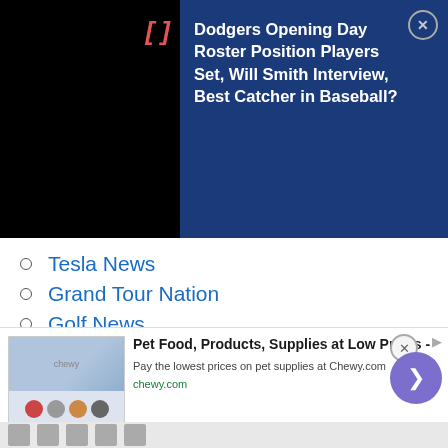[Figure (screenshot): Black video player background with notification overlay. Left side black with red bracket '[' symbol. Right side dark blue panel.]
Dodgers Opening Day Roster Position Players Set, Will Smith Interview, Best Catcher in Baseball?
Tesla News
Grand Tour Nation
Golf News
LA Sports
[Figure (logo): Dodgers Nation logo with crossed bats and shield badge, text DODGERS NATION in spaced uppercase letters]
The Official Site of Dodgers Nation
[Figure (screenshot): Advertisement for Chewy.com pet supplies with product images and navigation arrow button]